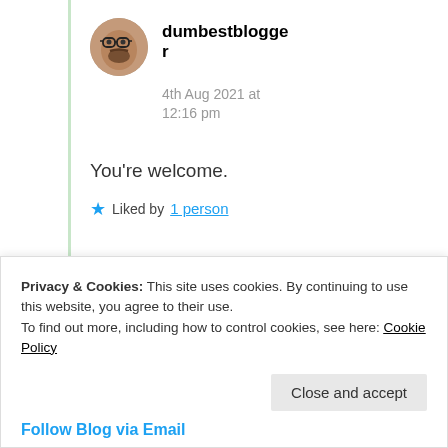dumbestblogger
4th Aug 2021 at 12:16 pm
You're welcome.
★ Liked by 1 person
Privacy & Cookies: This site uses cookies. By continuing to use this website, you agree to their use.
To find out more, including how to control cookies, see here: Cookie Policy
Close and accept
Follow Blog via Email